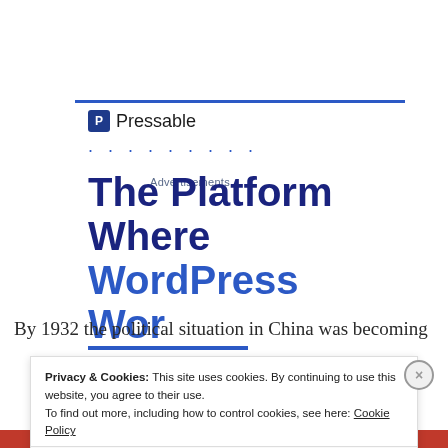Advertisements
[Figure (logo): Pressable logo with blue square P icon and text 'Pressable', followed by decorative blue dots, and headline 'The Platform Where WordPress' partially visible]
By 1932 the political situation in China was becoming
Privacy & Cookies: This site uses cookies. By continuing to use this website, you agree to their use.
To find out more, including how to control cookies, see here: Cookie Policy
Close and accept